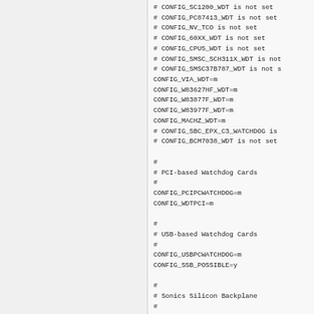# CONFIG_SC1200_WDT is not set
# CONFIG_PC87413_WDT is not set
# CONFIG_NV_TCO is not set
# CONFIG_60XX_WDT is not set
# CONFIG_CPU5_WDT is not set
# CONFIG_SMSC_SCH311X_WDT is not set
# CONFIG_SMSC37B787_WDT is not set
CONFIG_VIA_WDT=m
CONFIG_W83627HF_WDT=m
CONFIG_W83877F_WDT=m
CONFIG_W83977F_WDT=m
CONFIG_MACHZ_WDT=m
# CONFIG_SBC_EPX_C3_WATCHDOG is not set
# CONFIG_BCM7038_WDT is not set

#
# PCI-based Watchdog Cards
#
CONFIG_PCIPCWATCHDOG=m
CONFIG_WDTPCI=m

#
# USB-based Watchdog Cards
#
CONFIG_USBPCWATCHDOG=m
CONFIG_SSB_POSSIBLE=y

#
# Sonics Silicon Backplane
#
CONFIG_SSB=m
CONFIG_SSB_SPROM=y